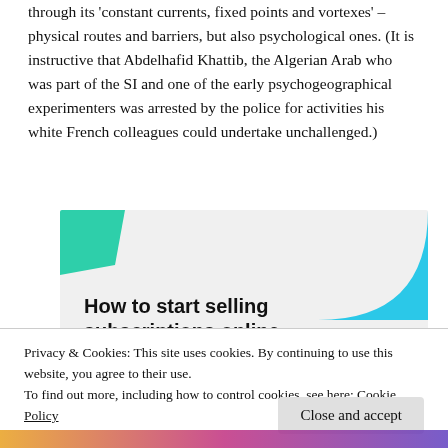through its 'constant currents, fixed points and vortexes' – physical routes and barriers, but also psychological ones. (It is instructive that Abdelhafid Khattib, the Algerian Arab who was part of the SI and one of the early psychogeographical experimenters was arrested by the police for activities his white French colleagues could undertake unchallenged.)
[Figure (infographic): Advertisement banner with light gray background, a teal/green geometric shape top-left, a cyan curved shape top-right, and bold text reading 'How to start selling subscriptions online']
Privacy & Cookies: This site uses cookies. By continuing to use this website, you agree to their use.
To find out more, including how to control cookies, see here: Cookie Policy
Close and accept